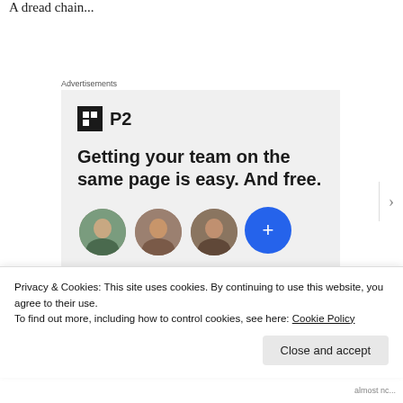A dread chain...
Advertisements
[Figure (screenshot): P2 advertisement: logo with black square icon and P2 text, headline 'Getting your team on the same page is easy. And free.' with circular avatar photos below]
Privacy & Cookies: This site uses cookies. By continuing to use this website, you agree to their use.
To find out more, including how to control cookies, see here: Cookie Policy
Close and accept